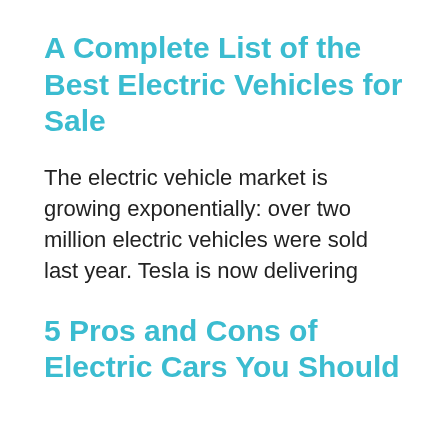A Complete List of the Best Electric Vehicles for Sale
The electric vehicle market is growing exponentially: over two million electric vehicles were sold last year. Tesla is now delivering
5 Pros and Cons of Electric Cars You Should